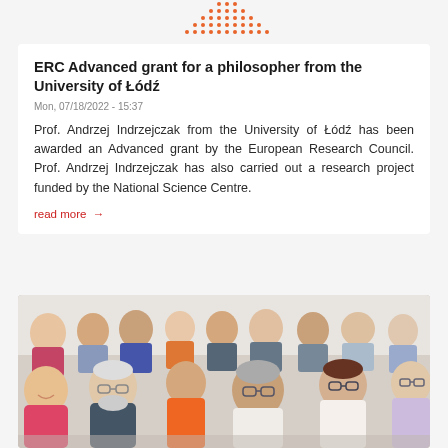[Figure (other): Orange dot grid pattern (university logo fragment) at top center of page]
ERC Advanced grant for a philosopher from the University of Łódź
Mon, 07/18/2022 - 15:37
Prof. Andrzej Indrzejczak from the University of Łódź has been awarded an Advanced grant by the European Research Council. Prof. Andrzej Indrzejczak has also carried out a research project funded by the National Science Centre.
read more →
[Figure (photo): Audience of men and women seated in rows at a conference or academic event, smiling and listening. A woman in a pink jacket is prominently visible on the left.]